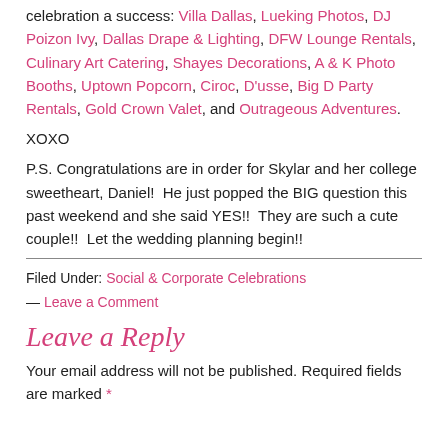celebration a success: Villa Dallas, Lueking Photos, DJ Poizon Ivy, Dallas Drape & Lighting, DFW Lounge Rentals, Culinary Art Catering, Shayes Decorations, A & K Photo Booths, Uptown Popcorn, Ciroc, D'usse, Big D Party Rentals, Gold Crown Valet, and Outrageous Adventures.
XOXO
P.S. Congratulations are in order for Skylar and her college sweetheart, Daniel!  He just popped the BIG question this past weekend and she said YES!!  They are such a cute couple!!  Let the wedding planning begin!!
Filed Under: Social & Corporate Celebrations — Leave a Comment
Leave a Reply
Your email address will not be published. Required fields are marked *